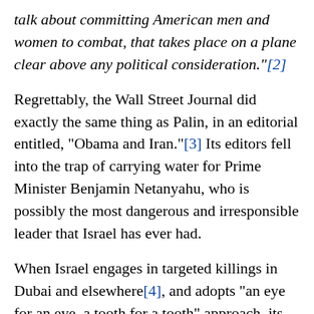talk about committing American men and women to combat, that takes place on a plane clear above any political consideration."[2]
Regrettably, the Wall Street Journal did exactly the same thing as Palin, in an editorial entitled, “Obama and Iran.”[3] Its editors fell into the trap of carrying water for Prime Minister Benjamin Netanyahu, who is possibly the most dangerous and irresponsible leader that Israel has ever had.
When Israel engages in targeted killings in Dubai and elsewhere[4], and adopts “an eye for an eye, a tooth for a tooth” approach, its enemies around the world are emboldened to respond in kind or worse. In turn, this puts innocent Israelis at risk whenever they travel outside of Israel; and it potentially begets violence against innocent